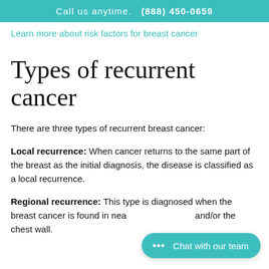Call us anytime.  (888) 450-0659
Learn more about risk factors for breast cancer
Types of recurrent cancer
There are three types of recurrent breast cancer:
Local recurrence: When cancer returns to the same part of the breast as the initial diagnosis, the disease is classified as a local recurrence.
Regional recurrence: This type is diagnosed when the breast cancer is found in nearby lymph nodes and/or the chest wall.